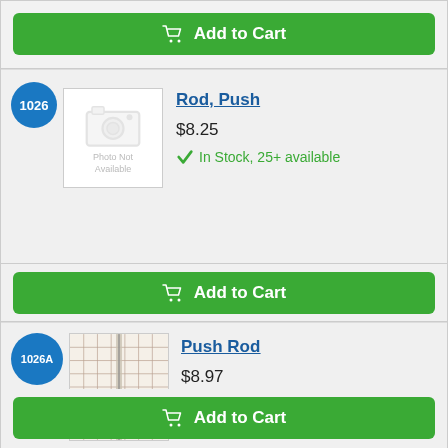[Figure (other): Add to Cart button (top, partial card)]
[Figure (other): Product listing item 1026: Rod, Push — $8.25, In Stock 25+ available, with photo-not-available placeholder image]
[Figure (other): Add to Cart button for item 1026]
[Figure (other): Product listing item 1026A: Push Rod — $8.97, In Stock 25+ available, with grid photo of push rod]
[Figure (other): Add to Cart button for item 1026A]